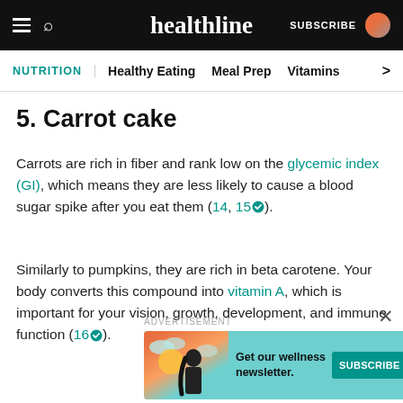healthline | SUBSCRIBE
NUTRITION | Healthy Eating  Meal Prep  Vitamins
5. Carrot cake
Carrots are rich in fiber and rank low on the glycemic index (GI), which means they are less likely to cause a blood sugar spike after you eat them (14, 15).
Similarly to pumpkins, they are rich in beta carotene. Your body converts this compound into vitamin A, which is important for your vision, growth, development, and immune function (16).
ADVERTISEMENT
[Figure (infographic): Advertisement banner for Healthline wellness newsletter with illustration of a woman and teal SUBSCRIBE button]